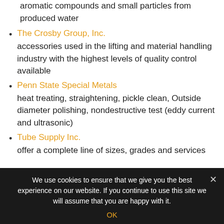aromatic compounds and small particles from produced water
The Crosby Group, Inc. — accessories used in the lifting and material handling industry with the highest levels of quality control available
Penn State Special Metals — heat treating, straightening, pickle clean, Outside diameter polishing, nondestructive test (eddy current and ultrasonic)
Tube Supply Inc. — offer a complete line of sizes, grades and services including heat treating, boring, honing, cutting and
We use cookies to ensure that we give you the best experience on our website. If you continue to use this site we will assume that you are happy with it.
OK